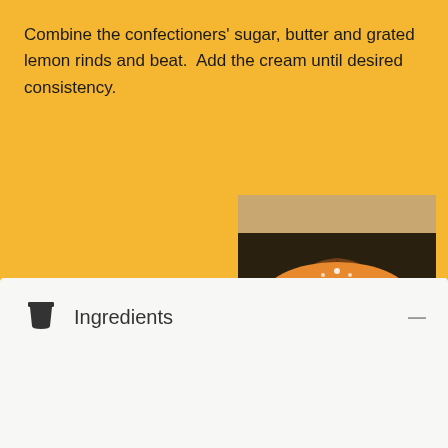Combine the confectioners' sugar, butter and grated lemon rinds and beat.  Add the cream until desired consistency.
[Figure (photo): A golden bundt cake dusted with powdered sugar, served on a dark plate with a lemon wedge garnish]
Ingredients